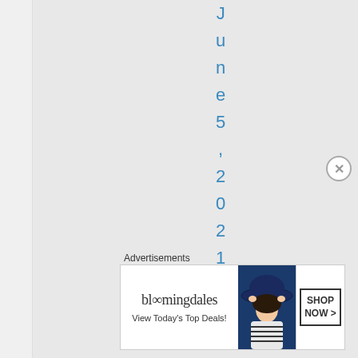June 5, 2021 at 8:4(0)
Advertisements
[Figure (photo): Bloomingdale's advertisement banner showing logo, 'View Today's Top Deals!' tagline, woman in navy hat, and 'SHOP NOW >' call-to-action button]